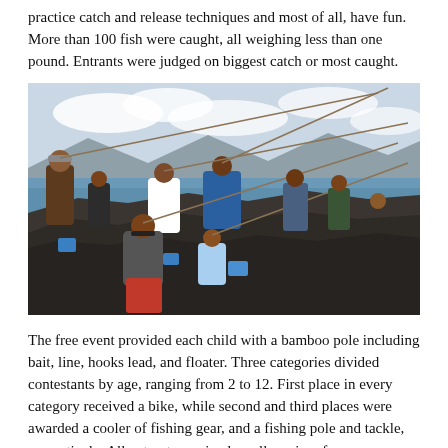practice catch and release techniques and most of all, have fun. More than 100 fish were caught, all weighing less than one pound. Entrants were judged on biggest catch or most caught.
[Figure (photo): Group of children and adults fishing from rocky shoreline near the ocean, holding bamboo poles, with blue buckets visible on the rocks. Ocean and mountains visible in the background.]
The free event provided each child with a bamboo pole including bait, line, hooks lead, and floater. Three categories divided contestants by age, ranging from 2 to 12. First place in every category received a bike, while second and third places were awarded a cooler of fishing gear, and a fishing pole and tackle, respectively. All entrants received smaller prizes for participating.